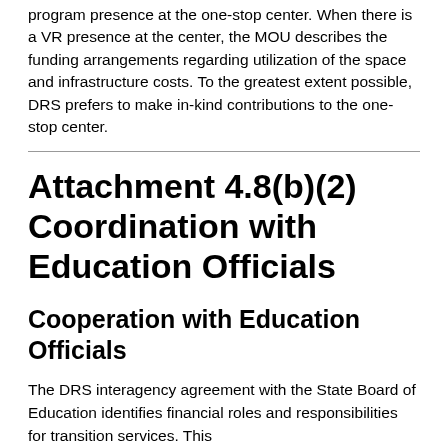program presence at the one-stop center. When there is a VR presence at the center, the MOU describes the funding arrangements regarding utilization of the space and infrastructure costs. To the greatest extent possible, DRS prefers to make in-kind contributions to the one-stop center.
Attachment 4.8(b)(2) Coordination with Education Officials
Cooperation with Education Officials
The DRS interagency agreement with the State Board of Education identifies financial roles and responsibilities for transition services. This